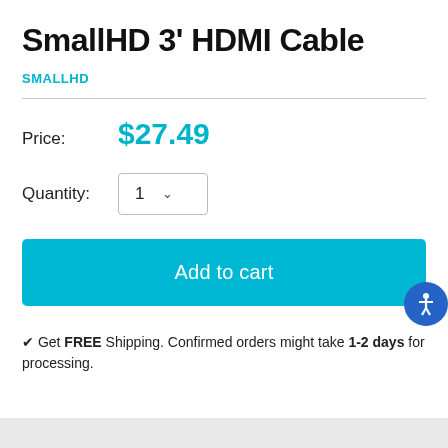SmallHD 3' HDMI Cable
SMALLHD
Price: $27.49
Quantity: 1
Add to cart
✔ Get FREE Shipping. Confirmed orders might take 1-2 days for processing.